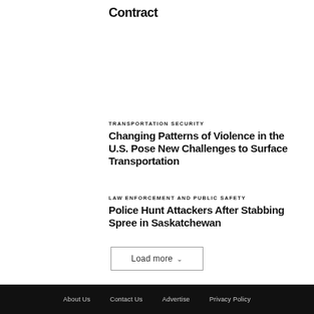Contract
TRANSPORTATION SECURITY
Changing Patterns of Violence in the U.S. Pose New Challenges to Surface Transportation
LAW ENFORCEMENT AND PUBLIC SAFETY
Police Hunt Attackers After Stabbing Spree in Saskatchewan
Load more
About Us   Contact Us   Advertise   Privacy Policy